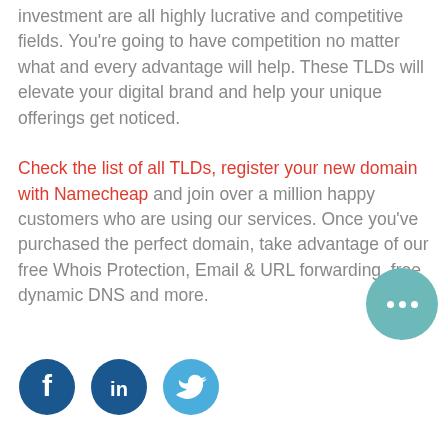investment are all highly lucrative and competitive fields. You're going to have competition no matter what and every advantage will help. These TLDs will elevate your digital brand and help your unique offerings get noticed.

Check the list of all TLDs, register your new domain with Namecheap and join over a million happy customers who are using our services. Once you've purchased the perfect domain, take advantage of our free Whois Protection, Email & URL forwarding, free dynamic DNS and more.
[Figure (other): Social media icons: Facebook (dark blue circle with 'f'), LinkedIn (dark blue circle with 'in'), Twitter (light blue circle with bird icon)]